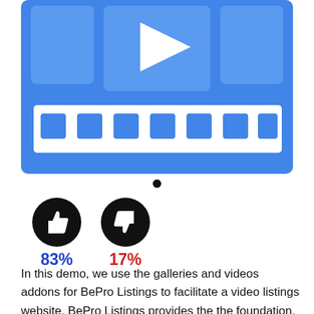[Figure (illustration): Blue video/film strip icon with play button triangle in center screen area, film strip with square holes at bottom, and small circular dot indicator below]
83% 17%
In this demo, we use the galleries and videos addons for BePro Listings to facilitate a video listings website. BePro Listings provides the the foundation, the